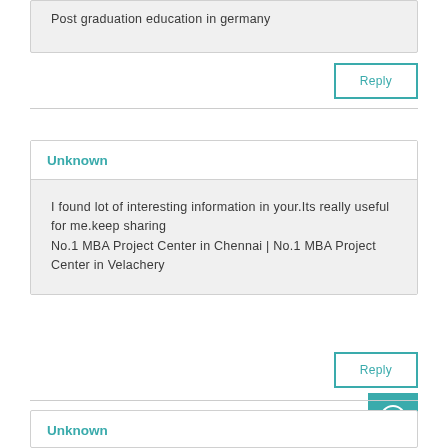Post graduation education in germany
Reply
Unknown
I found lot of interesting information in your.Its really useful for me.keep sharing
No.1 MBA Project Center in Chennai | No.1 MBA Project Center in Velachery
Reply
Unknown